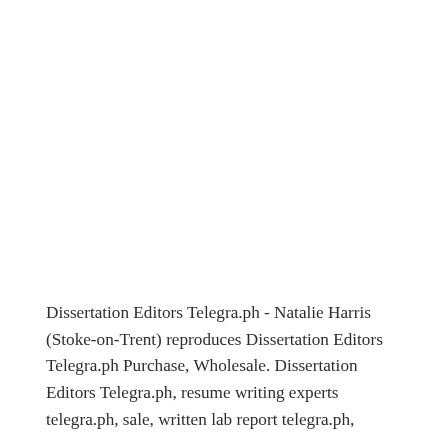Dissertation Editors Telegra.ph - Natalie Harris (Stoke-on-Trent) reproduces Dissertation Editors Telegra.ph Purchase, Wholesale. Dissertation Editors Telegra.ph, resume writing experts telegra.ph, sale, written lab report telegra.ph,